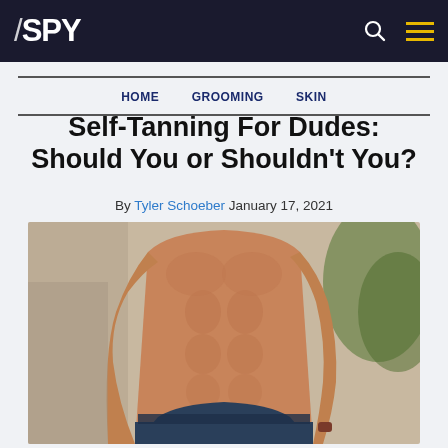SPY
HOME   GROOMING   SKIN
Self-Tanning For Dudes: Should You or Shouldn't You?
By Tyler Schoeber January 17, 2021
[Figure (photo): Shirtless man with tanned torso wearing navy blue swim shorts, tropical plants visible in background]